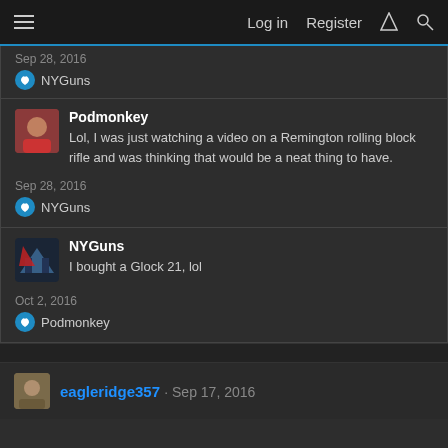Log in  Register
Sep 28, 2016
NYGuns
Podmonkey
Lol, I was just watching a video on a Remington rolling block rifle and was thinking that would be a neat thing to have.
Sep 28, 2016
NYGuns
NYGuns
I bought a Glock 21, lol
Oct 2, 2016
Podmonkey
eagleridge357 · Sep 17, 2016